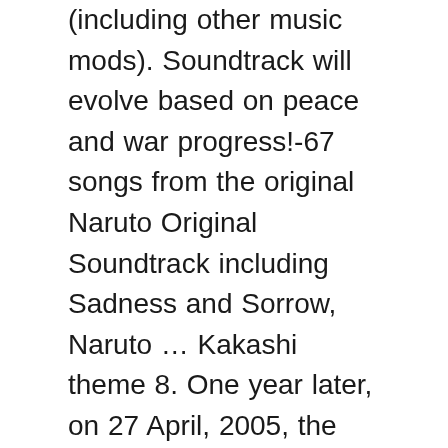(including other music mods). Soundtrack will evolve based on peace and war progress!-67 songs from the original Naruto Original Soundtrack including Sadness and Sorrow, Naruto … Kakashi theme 8. One year later, on 27 April, 2005, the third album was published by Masuda, titled Naruto Original Soundtrack III. Amazon Price New from Used from Audio CD, Soundtrack, 10 Mar. ROCKS 2. Skip to main content.ca. Sakura theme 7. Tracklist . Naruto: Original Soundtrack II Toshiro Masuda. Listen free to 増田俊郎 – Naruto Original Soundtrack III (Beautiful Green Wild Beast, Sakura Season and more). Listen free to Toshio Masuda – Naruto Original Soundtrack II (Haruka Kanata, Daylight Of Konoha and more). Toshio Masuda